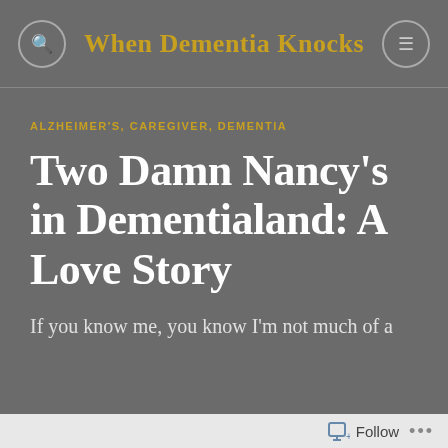When Dementia Knocks
ALZHEIMER'S, CAREGIVER, DEMENTIA
Two Damn Nancy's in Dementialand: A Love Story
If you know me, you know I'm not much of a